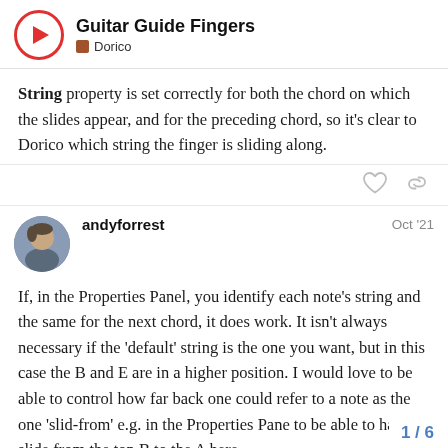Guitar Guide Fingers — Dorico
String property is set correctly for both the chord on which the slides appear, and for the preceding chord, so it's clear to Dorico which string the finger is sliding along.
andyforrest  Oct '21
If, in the Properties Panel, you identify each note's string and the same for the next chord, it does work. It isn't always necessary if the 'default' string is the one you want, but in this case the B and E are in a higher position. I would love to be able to control how far back one could refer to a note as the one 'slid-from' e.g. in the Properties Pane to be able to have a slide from the top B to the A here ...
1 / 6